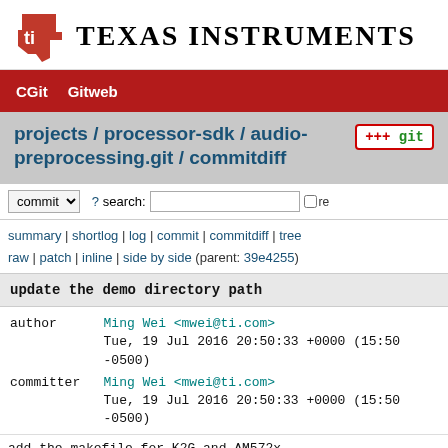[Figure (logo): Texas Instruments logo with red state silhouette and TI symbol, followed by 'TEXAS INSTRUMENTS' wordmark]
CGit   Gitweb
projects / processor-sdk / audio-preprocessing.git / commitdiff
commit  ? search:  re
summary | shortlog | log | commit | commitdiff | tree
raw | patch | inline | side by side (parent: 39e4255)
update the demo directory path
| field | name | date |
| --- | --- | --- |
| author | Ming Wei <mwei@ti.com> | Tue, 19 Jul 2016 20:50:33 +0000 (15:50 -0500) |
| committer | Ming Wei <mwei@ti.com> | Tue, 19 Jul 2016 20:50:33 +0000 (15:50 -0500) |
add the makefile for K2G and AM572x